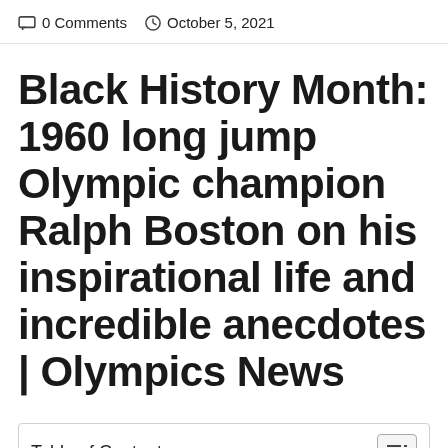0 Comments   October 5, 2021
Black History Month: 1960 long jump Olympic champion Ralph Boston on his inspirational life and incredible anecdotes | Olympics News
Table of Contents
1. Black History Month: 1960 long jump